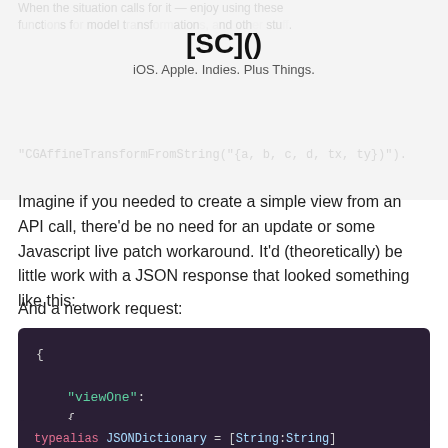[SC]()
iOS. Apple. Indies. Plus Things.
Imagine if you needed to create a simple view from an API call, there'd be no need for an update or some Javascript live patch workaround. It'd (theoretically) be little work with a JSON response that looked something like this:
[Figure (screenshot): Dark-themed code block showing JSON: { "viewOne": { "frame": "{{10,10}, {100,100}}" } }]
And a network request:
[Figure (screenshot): Dark-themed code block showing: typealias JSONDictionary = [String:String]]